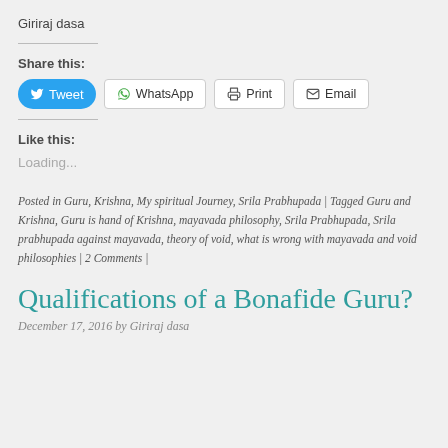Giriraj dasa
Share this:
Tweet | WhatsApp | Print | Email
Like this:
Loading...
Posted in Guru, Krishna, My spiritual Journey, Srila Prabhupada | Tagged Guru and Krishna, Guru is hand of Krishna, mayavada philosophy, Srila Prabhupada, Srila prabhupada against mayavada, theory of void, what is wrong with mayavada and void philosophies | 2 Comments |
Qualifications of a Bonafide Guru?
December 17, 2016 by Giriraj dasa